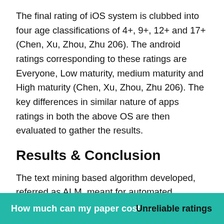The final rating of iOS system is clubbed into four age classifications of 4+, 9+, 12+ and 17+ (Chen, Xu, Zhou, Zhu 206). The android ratings corresponding to these ratings are Everyone, Low maturity, medium maturity and High maturity (Chen, Xu, Zhou, Zhu 206). The key differences in similar nature of apps ratings in both the above OS are then evaluated to gather the results.
Results & Conclusion
The text mining based algorithm developed, referred as ALM, meant for automated labelling of maturity ratings and the base for this algorithm is developed from those used in iOS. The algorithm, when applied in case of Android ratings , came up with a conclusion that almost 30% of android apps were overrated in maturity ratings while almost 10% were underrated in
Unreliable ratings
How much can my paper cost →